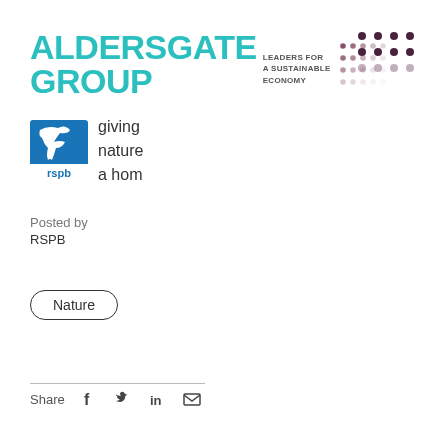[Figure (logo): Aldersgate Group logo with teal/turquoise text reading ALDERSGATE GROUP, tagline LEADERS FOR A SUSTAINABLE ECONOMY, and decorative dot grid pattern]
[Figure (logo): RSPB logo - blue square badge with bird silhouette, text 'giving nature a home']
Posted by
RSPB
Nature
Share